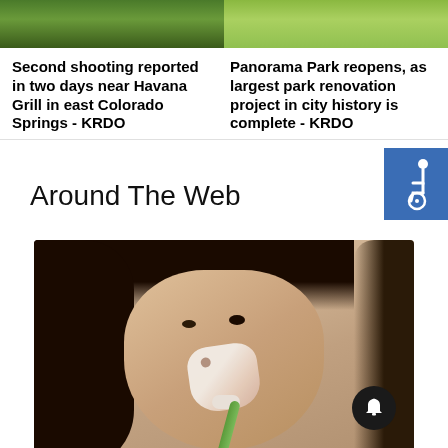[Figure (photo): Partial outdoor/grassy scene image on the left - top portion]
[Figure (photo): Partial outdoor/park scene image on the right - top portion]
Second shooting reported in two days near Havana Grill in east Colorado Springs - KRDO
Panorama Park reopens, as largest park renovation project in city history is complete - KRDO
Around The Web
[Figure (photo): Close-up photo of a woman applying a white face mask/cream to her nose with a brush. She has long dark hair and is looking upward slightly.]